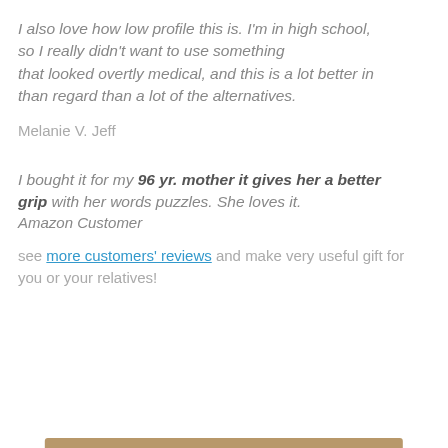I also love how low profile this is. I'm in high school, so I really didn't want to use something that looked overtly medical, and this is a lot better in than regard than a lot of the alternatives.
Melanie V. Jeff
I bought it for my 96 yr. mother it gives her a better grip with her words puzzles. She loves it. Amazon Customer
see more customers' reviews and make very useful gift for you or your relatives!